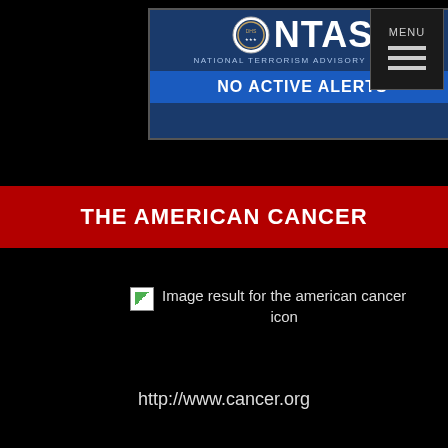[Figure (logo): NTAS National Terrorism Advisory System banner showing NO ACTIVE ALERTS in blue]
[Figure (screenshot): MENU navigation button with three horizontal lines]
THE AMERICAN CANCER
[Figure (illustration): Broken image placeholder with text: Image result for the american cancer icon]
http://www.cancer.org